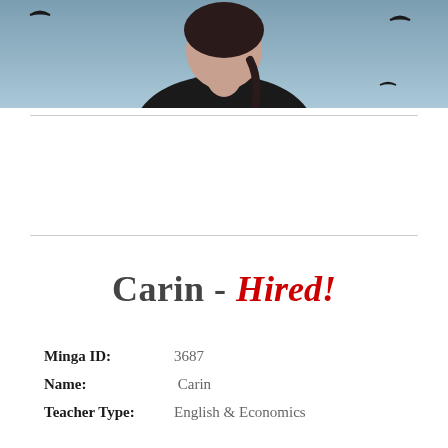[Figure (photo): Photo of a young woman with dark braided hair, wearing a black shirt, with a colorful illustrated background featuring birds]
Carin - Hired!
Minga ID:  3687
Name:  Carin
Teacher Type:  English & Economics